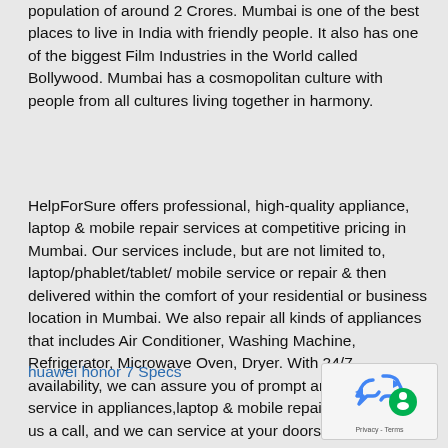population of around 2 Crores. Mumbai is one of the best places to live in India with friendly people. It also has one of the biggest Film Industries in the World called Bollywood. Mumbai has a cosmopolitan culture with people from all cultures living together in harmony.
HelpForSure offers professional, high-quality appliance, laptop & mobile repair services at competitive pricing in Mumbai. Our services include, but are not limited to, laptop/phablet/tablet/ mobile service or repair & then delivered within the comfort of your residential or business location in Mumbai. We also repair all kinds of appliances that includes Air Conditioner, Washing Machine, Refrigerator, Microwave Oven, Dryer. With 24/7 availability, we can assure you of prompt and economical service in appliances,laptop & mobile repair services. Give us a call, and we can service at your doorstep.
huawei honor 7 Specs
[Figure (other): reCAPTCHA widget with blue recycling arrows icon and green circle with person icon, showing 'Privacy - Terms' text]